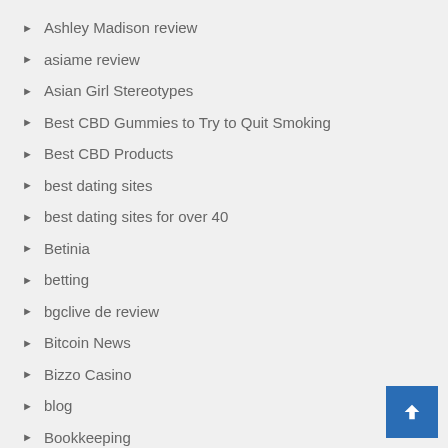Ashley Madison review
asiame review
Asian Girl Stereotypes
Best CBD Gummies to Try to Quit Smoking
Best CBD Products
best dating sites
best dating sites for over 40
Betinia
betting
bgclive de review
Bitcoin News
Bizzo Casino
blog
Bookkeeping
bookofsex review